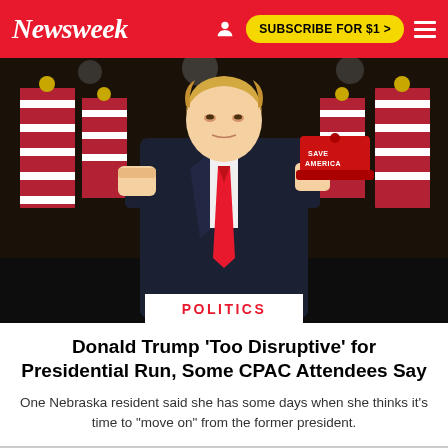Newsweek | SUBSCRIBE FOR $1 >
[Figure (photo): Donald Trump in a dark suit and red tie, holding a red 'SAVE AMERICA' cap in one hand and raising a fist with the other, standing in front of American flags on a dark stage background.]
POLITICS
Donald Trump 'Too Disruptive' for Presidential Run, Some CPAC Attendees Say
One Nebraska resident said she has some days when she thinks it's time to "move on" from the former president.